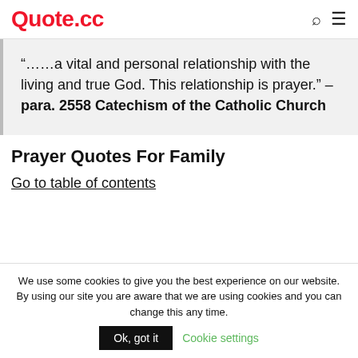Quote.cc
“……a vital and personal relationship with the living and true God. This relationship is prayer.” – para. 2558 Catechism of the Catholic Church
Prayer Quotes For Family
Go to table of contents
We use some cookies to give you the best experience on our website. By using our site you are aware that we are using cookies and you can change this any time.